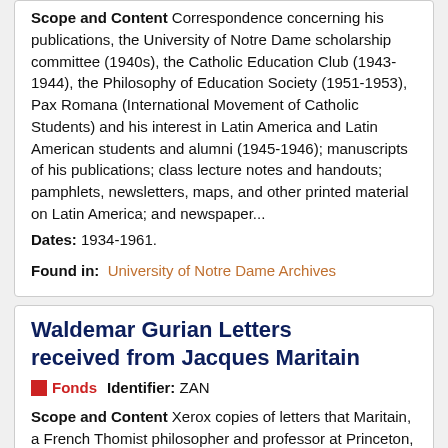Scope and Content Correspondence concerning his publications, the University of Notre Dame scholarship committee (1940s), the Catholic Education Club (1943-1944), the Philosophy of Education Society (1951-1953), Pax Romana (International Movement of Catholic Students) and his interest in Latin America and Latin American students and alumni (1945-1946); manuscripts of his publications; class lecture notes and handouts; pamphlets, newsletters, maps, and other printed material on Latin America; and newspaper... Dates: 1934-1961.
Found in: University of Notre Dame Archives
Waldemar Gurian Letters received from Jacques Maritain
Fonds  Identifier: ZAN
Scope and Content Xerox copies of letters that Maritain, a French Thomist philosopher and professor at Princeton, wrote to Gurian, a